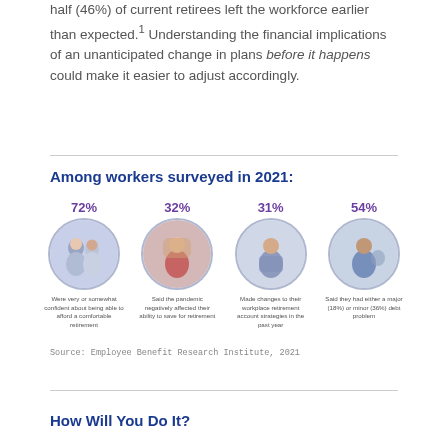half (46%) of current retirees left the workforce earlier than expected.¹ Understanding the financial implications of an unanticipated change in plans before it happens could make it easier to adjust accordingly.
Among workers surveyed in 2021:
[Figure (infographic): Four circular photo icons with percentage statistics about workers surveyed in 2021. 72%: Were very or somewhat confident about being able to afford a comfortable retirement. 32%: Said the pandemic negatively affected their ability to save for retirement. 31%: Made changes to their workplace retirement account strategies in the past year. 54%: Said they had either a major (18%) or minor (36%) debt problem.]
Source: Employee Benefit Research Institute, 2021
How Will You Do It?